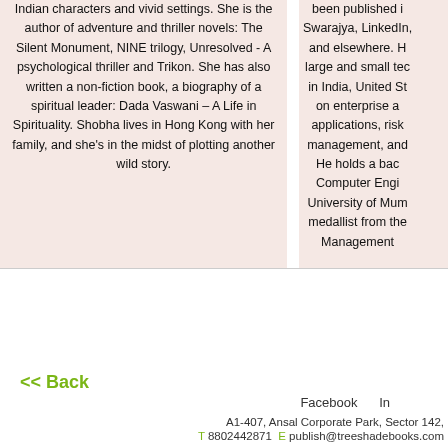her stories are peppered with unique Indian characters and vivid settings. She is the author of adventure and thriller novels: The Silent Monument, NINE trilogy, Unresolved - A psychological thriller and Trikon. She has also written a non-fiction book, a biography of a spiritual leader: Dada Vaswani – A Life in Spirituality. Shobha lives in Hong Kong with her family, and she's in the midst of plotting another wild story.
been published in Swarajya, LinkedIn, and elsewhere. H large and small tech in India, United Sta on enterprise a applications, risk management, and He holds a bach Computer Engin University of Mum medallist from the Management
<< Back
Facebook  In  A1-407, Ansal Corporate Park, Sector 142,  T 8802442871  E publish@treeshadebooks.com